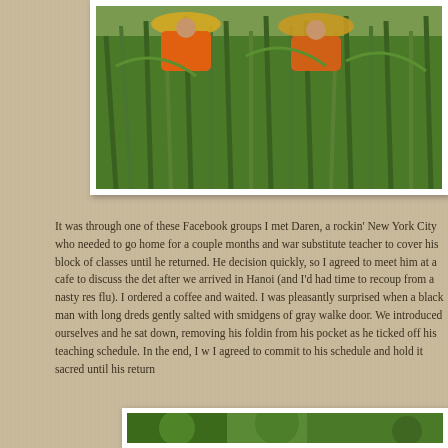[Figure (photo): Vietnamese women wearing traditional conical hats working among tall green plants/reeds at a market or field. One woman in orange clothing is visible.]
It was through one of these Facebook groups I met Daren, a rockin' New York City who needed to go home for a couple months and wa substitute teacher to cover his block of classes until he returned. He decision quickly, so I agreed to meet him at a cafe to discuss the det after we arrived in Hanoi (and I'd had time to recoup from a nasty res flu). I ordered a coffee and waited. I was pleasantly surprised when a black man with long dreds gently salted with smidgens of gray walke door. We introduced ourselves and he sat down, removing his foldin from his pocket as he ticked off his teaching schedule. In the end, I w I agreed to commit to his schedule and hold it sacred until his return
[Figure (photo): Partial view of a green outdoor scene, likely trees or vegetation.]